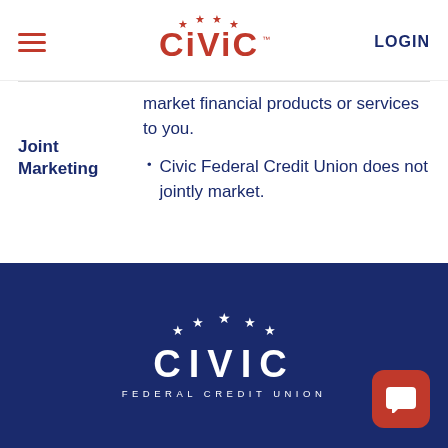CIVIC LOGIN
market financial products or services to you.
Joint Marketing
Civic Federal Credit Union does not jointly market.
[Figure (logo): Civic Federal Credit Union logo in white on dark blue footer background, with five white stars above the word CIVIC and subtitle FEDERAL CREDIT UNION]
[Figure (other): Red rounded square chat button icon in bottom right of footer]